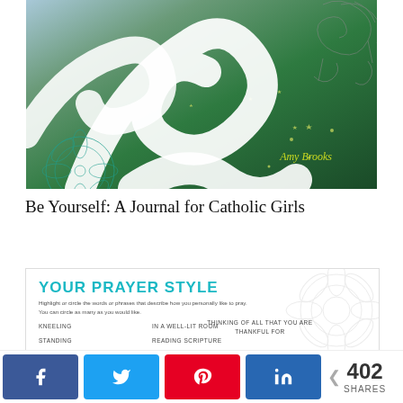[Figure (illustration): Book cover of 'Be Yourself: A Journal for Catholic Girls' by Amy Brooks. Colorful illustration with swirling white elements over green and teal background with decorative floral and star motifs.]
Be Yourself: A Journal for Catholic Girls
[Figure (illustration): Interior page of the journal showing 'YOUR PRAYER STYLE' section with teal uppercase heading, description text, and prayer style options including KNEELING, STANDING, IN A WELL-LIT ROOM, READING SCRIPTURE, THINKING OF ALL THAT YOU ARE THANKFUL FOR, along with decorative floral line art.]
402 SHARES